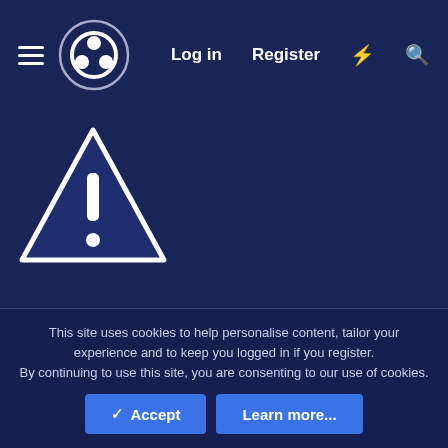☰ [OBS Logo] Log in Register ⚡ 🔍
[Figure (illustration): Warning triangle icon with exclamation mark, white outline on dark navy background]
You can now already enter and use the fields to your liking, click the little Floppy icon to save everything and "push" it live. Of course, before we can see something on our Stream, we have to add some necessary sources into OBS.
This site uses cookies to help personalise content, tailor your experience and to keep you logged in if you register.
By continuing to use this site, you are consenting to our use of cookies.
✓ Accept   Learn more...